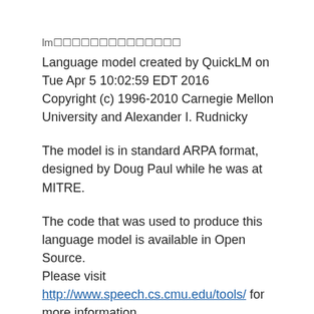lm
Language model created by QuickLM on Tue Apr 5 10:02:59 EDT 2016
Copyright (c) 1996-2010 Carnegie Mellon University and Alexander I. Rudnicky
The model is in standard ARPA format, designed by Doug Paul while he was at MITRE.
The code that was used to produce this language model is available in Open Source.
Please visit http://www.speech.cs.cmu.edu/tools/ for more information
The (fixed) discount mass is 0.5. The backoffs are computed using the ratio method.
This model based on a corpus of 5 sentences and 7 words